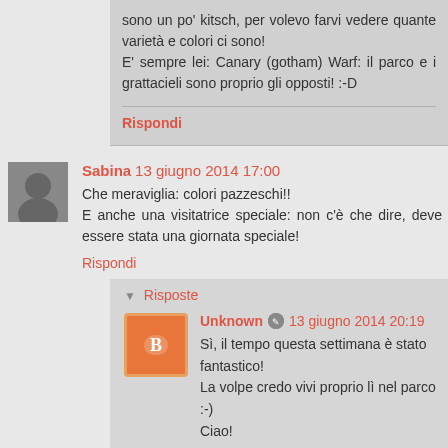sono un po' kitsch, per volevo farvi vedere quante varietà e colori ci sono!
E' sempre lei: Canary (gotham) Warf: il parco e i grattacieli sono proprio gli opposti! :-D
Rispondi
Sabina  13 giugno 2014 17:00
Che meraviglia: colori pazzeschi!!
E anche una visitatrice speciale: non c'è che dire, deve essere stata una giornata speciale!
Rispondi
▼  Risposte
Unknown  ✎  13 giugno 2014 20:19
Sì, il tempo questa settimana è stato fantastico!
La volpe credo vivi proprio lì nel parco :-)
Ciao!